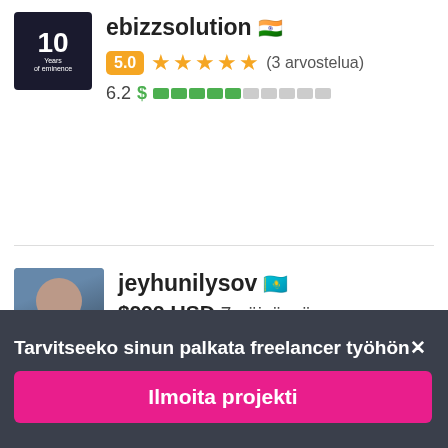ebizzsolution 🇮🇳
5.0 ★★★★★ (3 arvostelua)
6.2 $ ■■■■■░░░░░
jeyhunilysov 🇰🇿
$999 USD 7 päivässä
4.9 ★★★★★ (18 arvostelua)
6.1 $ ■■■■■░░░░░
Tarvitseeko sinun palkata freelancer työhön✕
Ilmoita projekti